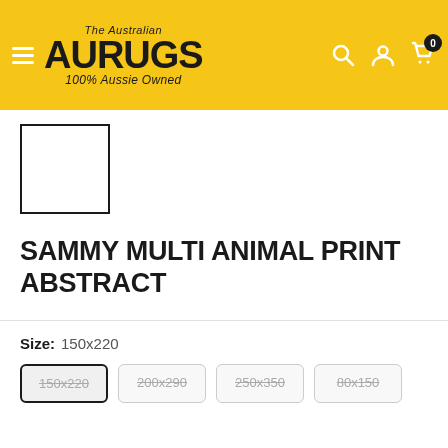[Figure (screenshot): AU Rugs website header with yellow background, hamburger menu, AU Rugs logo, search, account, and cart icons]
[Figure (photo): White empty product thumbnail image placeholder with black border]
SAMMY MULTI ANIMAL PRINT ABSTRACT
Size: 150x220
150x220 | 200x290 | 250x350 | 80x150